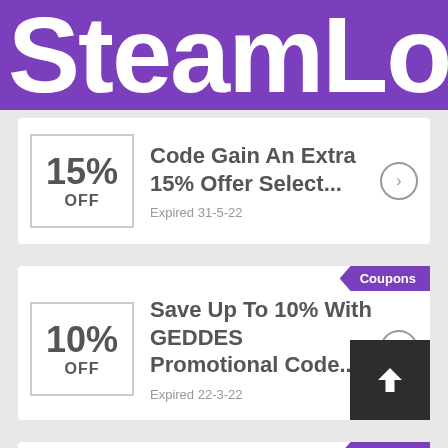SteamLo
15% OFF — Code Gain An Extra 15% Offer Select... Expired 31-5-22
Coupons — Save Up To 10% With GEDDES Promotional Code... Expired 22-3-22
Coupons